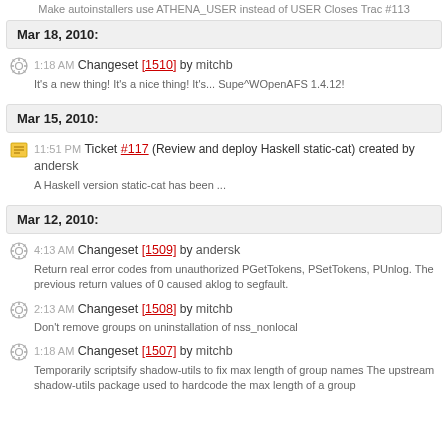Make autoinstallers use ATHENA_USER instead of USER Closes Trac #113
Mar 18, 2010:
1:18 AM Changeset [1510] by mitchb
It's a new thing! It's a nice thing! It's... Supe^WOpenAFS 1.4.12!
Mar 15, 2010:
11:51 PM Ticket #117 (Review and deploy Haskell static-cat) created by andersk
A Haskell version static-cat has been ...
Mar 12, 2010:
4:13 AM Changeset [1509] by andersk
Return real error codes from unauthorized PGetTokens, PSetTokens, PUnlog. The previous return values of 0 caused aklog to segfault.
2:13 AM Changeset [1508] by mitchb
Don't remove groups on uninstallation of nss_nonlocal
1:18 AM Changeset [1507] by mitchb
Temporarily scriptsify shadow-utils to fix max length of group names The upstream shadow-utils package used to hardcode the max length of a group